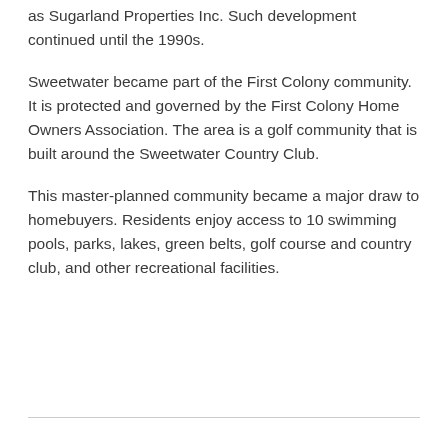as Sugarland Properties Inc. Such development continued until the 1990s.
Sweetwater became part of the First Colony community. It is protected and governed by the First Colony Home Owners Association. The area is a golf community that is built around the Sweetwater Country Club.
This master-planned community became a major draw to homebuyers. Residents enjoy access to 10 swimming pools, parks, lakes, green belts, golf course and country club, and other recreational facilities.